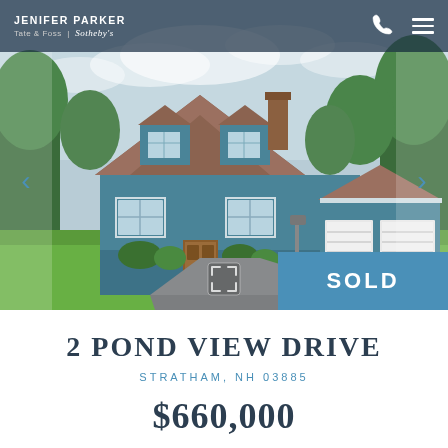JENIFER PARKER | Tate & Foss | Sotheby's
[Figure (photo): Exterior photo of a blue Cape Cod style house with brown shingle roof, attached garage, lush green lawn, and driveway. A detached two-car garage is visible to the right. 'SOLD' badge overlaid in blue on bottom right.]
2 POND VIEW DRIVE
STRATHAM, NH 03885
$660,000